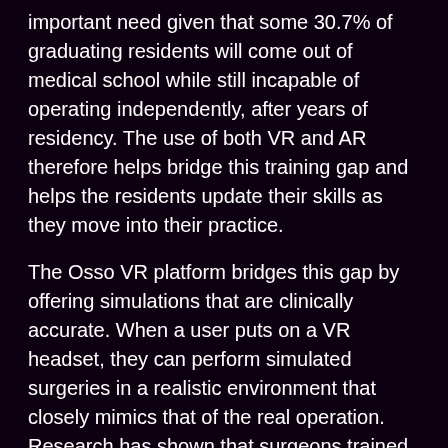important need given that some 30.7% of graduating residents will come out of medical school while still incapable of operating independently, after years of residency. The use of both VR and AR therefore helps bridge this training gap and helps the residents update their skills as they move into their practice.
The Osso VR platform bridges this gap by offering simulations that are clinically accurate. When a user puts on a VR headset, they can perform simulated surgeries in a realistic environment that closely mimics that of the real operation.  Research has shown that surgeons trained through virtual reality deliver surgical outcomes that are 230% better than those that aren't. Medical establishments are increasingly recognizing the value of VR to boosting surgical performance and are eager to tap into this. Osso VR currently has an interactive platform